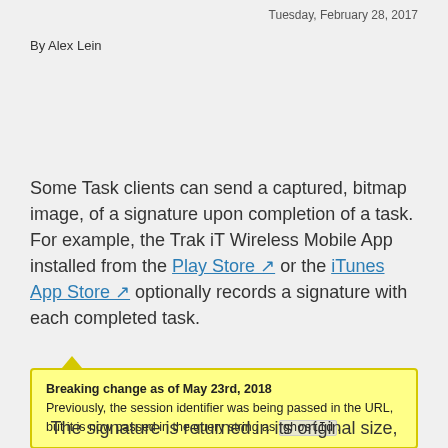Tuesday, February 28, 2017
By Alex Lein
Some Task clients can send a captured, bitmap image, of a signature upon completion of a task. For example, the Trak iT Wireless Mobile App installed from the Play Store or the iTunes App Store optionally records a signature with each completed task.
Breaking change as of May 23rd, 2018
Previously, the session identifier was being passed in the URL, but it is now passed in the query string as ghostId.
The signature is returned in its original size,